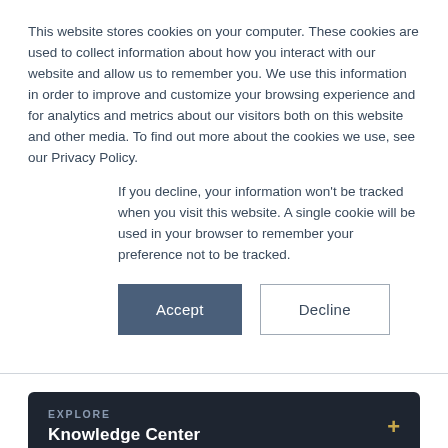This website stores cookies on your computer. These cookies are used to collect information about how you interact with our website and allow us to remember you. We use this information in order to improve and customize your browsing experience and for analytics and metrics about our visitors both on this website and other media. To find out more about the cookies we use, see our Privacy Policy.
If you decline, your information won't be tracked when you visit this website. A single cookie will be used in your browser to remember your preference not to be tracked.
Accept | Decline
EXPLORE
Knowledge Center
Private Equity Movement: